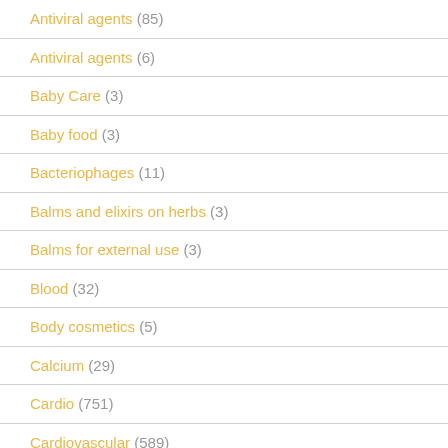Antiviral agents (85)
Antiviral agents (6)
Baby Care (3)
Baby food (3)
Bacteriophages (11)
Balms and elixirs on herbs (3)
Balms for external use (3)
Blood (32)
Body cosmetics (5)
Calcium (29)
Cardio (751)
Cardiovascular (589)